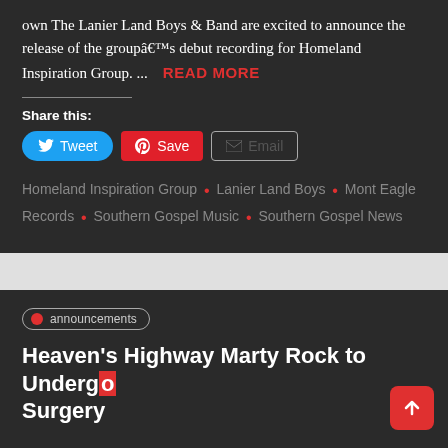own The Lanier Land Boys & Band are excited to announce the release of the groupâ€™s debut recording for Homeland Inspiration Group. ... READ MORE
Share this:
[Figure (screenshot): Social share buttons: Tweet (blue), Save (red Pinterest), Email (outlined)]
Homeland Inspiration Group • Lanier Land Boys • Mont Eagle Records • Southern Gospel Music • Southern Gospel News
announcements
Heaven's Highway Marty Rock to Undergo Surgery